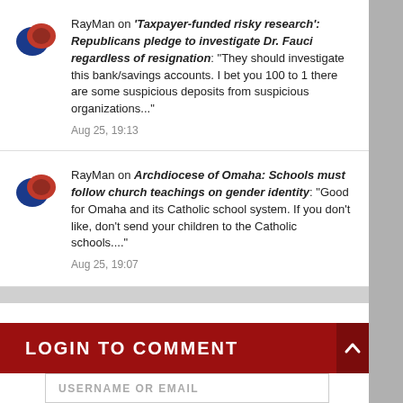RayMan on 'Taxpayer-funded risky research': Republicans pledge to investigate Dr. Fauci regardless of resignation: "They should investigate this bank/savings accounts. I bet you 100 to 1 there are some suspicious deposits from suspicious organizations..." Aug 25, 19:13
RayMan on Archdiocese of Omaha: Schools must follow church teachings on gender identity: "Good for Omaha and its Catholic school system. If you don't like, don't send your children to the Catholic schools...." Aug 25, 19:07
LOGIN TO COMMENT
USERNAME OR EMAIL